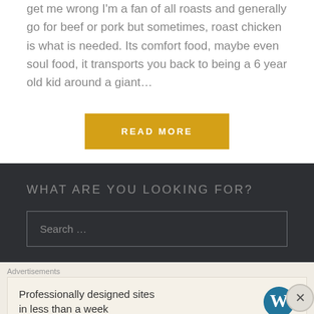get me wrong I'm a fan of all roasts and generally go for beef or pork but sometimes, roast chicken is what is needed. Its comfort food, maybe even soul food, it transports you back to being a 6 year old kid around a giant…
READ MORE
WHAT ARE YOU LOOKING FOR?
Search …
Advertisements
Professionally designed sites in less than a week